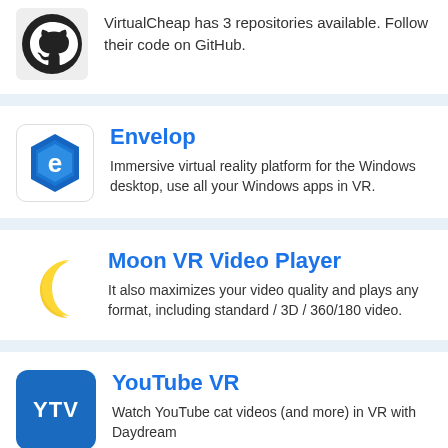[Figure (logo): GitHub cat/octocat logo icon, partially visible at top]
VirtualCheap has 3 repositories available. Follow their code on GitHub.
[Figure (logo): Envelop app icon: blue hexagon with stylized E letter]
Envelop
Immersive virtual reality platform for the Windows desktop, use all your Windows apps in VR.
[Figure (logo): Moon VR Video Player icon: yellow crescent moon]
Moon VR Video Player
It also maximizes your video quality and plays any format, including standard / 3D / 360/180 video.
[Figure (logo): YouTube VR icon: blue rounded square with YTV text]
YouTube VR
Watch YouTube cat videos (and more) in VR with Daydream